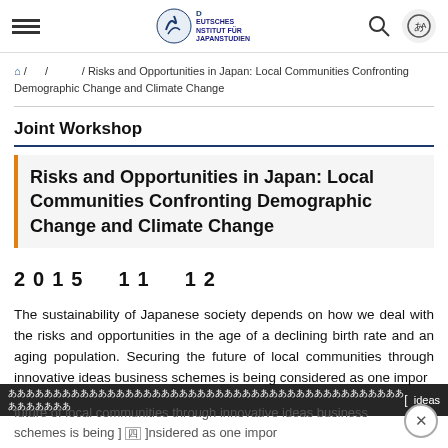Deutsches Institut für Japanstudien
/ / / Risks and Opportunities in Japan: Local Communities Confronting Demographic Change and Climate Change
Joint Workshop
Risks and Opportunities in Japan: Local Communities Confronting Demographic Change and Climate Change
2015　11　12
The sustainability of Japanese society depends on how we deal with the risks and opportunities in the age of a declining birth rate and an aging population. Securing the future of local communities through innovative ideas business schemes is being considered as one impor